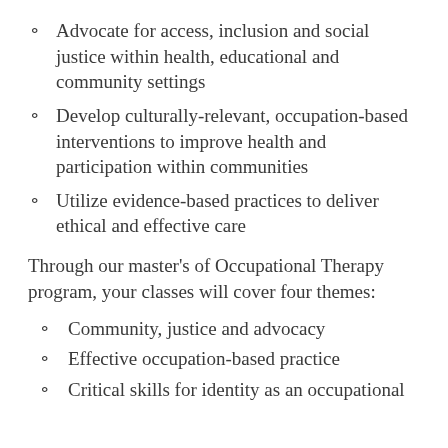Advocate for access, inclusion and social justice within health, educational and community settings
Develop culturally-relevant, occupation-based interventions to improve health and participation within communities
Utilize evidence-based practices to deliver ethical and effective care
Through our master's of Occupational Therapy program, your classes will cover four themes:
Community, justice and advocacy
Effective occupation-based practice
Critical skills for identity as an occupational therapist